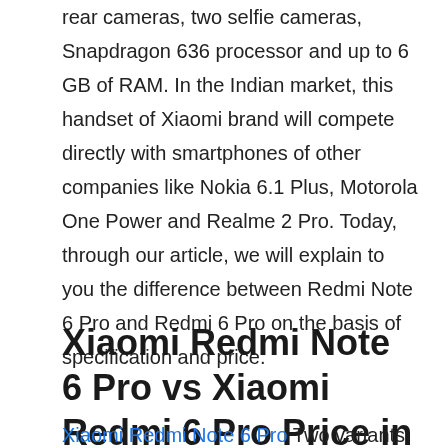Redmi Note 6 Pro, this handset will come with two rear cameras, two selfie cameras, Snapdragon 636 processor and up to 6 GB of RAM. In the Indian market, this handset of Xiaomi brand will compete directly with smartphones of other companies like Nokia 6.1 Plus, Motorola One Power and Realme 2 Pro. Today, through our article, we will explain to you the difference between Redmi Note 6 Pro and Redmi 6 Pro on the basis of specification and price.
Xiaomi Redmi Note 6 Pro vs Xiaomi Redmi 6 Pro Price in India
Xiaomi Redmi Note 6 Pro Two variants of the have